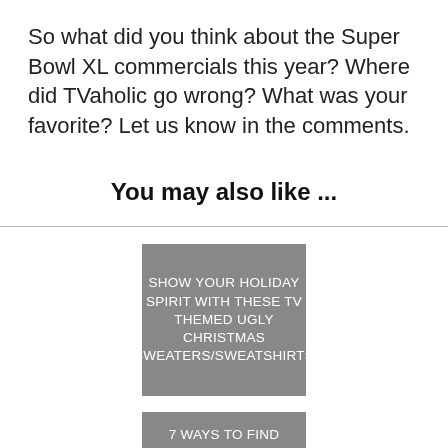So what did you think about the Super Bowl XL commercials this year? Where did TVaholic go wrong? What was your favorite? Let us know in the comments.
You may also like ...
[Figure (illustration): Grey card with white text: SHOW YOUR HOLIDAY SPIRIT WITH THESE TV THEMED UGLY CHRISTMAS SWEATERS/SWEATSHIRTS]
[Figure (illustration): Grey card with white text: 7 WAYS TO FIND WHEN SHOWS PREMIERE/RETURN FOR WINTER TV – 2014]